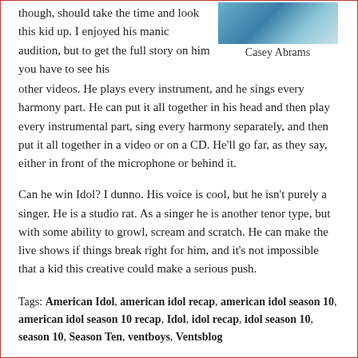though, should take the time and look this kid up. I enjoyed his manic audition, but to get the full story on him you have to see his other videos. He plays every instrument, and he sings every harmony part. He can put it all together in his head and then play every instrumental part, sing every harmony separately, and then put it all together in a video or on a CD. He'll go far, as they say, either in front of the microphone or behind it.
[Figure (photo): Photo of Casey Abrams]
Casey Abrams
Can he win Idol? I dunno. His voice is cool, but he isn't purely a singer. He is a studio rat. As a singer he is another tenor type, but with some ability to growl, scream and scratch. He can make the live shows if things break right for him, and it's not impossible that a kid this creative could make a serious push.
Tags: American Idol, american idol recap, american idol season 10, american idol season 10 recap, Idol, idol recap, idol season 10, season 10, Season Ten, ventboys, Ventsblog